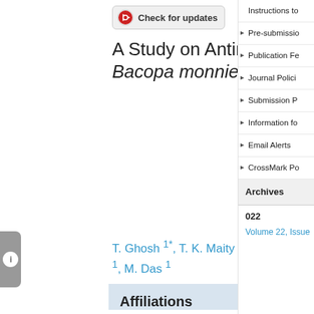[Figure (other): Check for updates badge with CrossMark logo]
A Study on Antimicrobial Activity of Bacopa monnieri Linn. Aerial Parts
T. Ghosh 1*, T. K. Maity 2, A. Bose 1, Gouri Kumar Dash 1, M. Das 1
Affiliations
Institute of Pharmacy and Technology, Cuttack, Orissa, 754202, India
Jadavpur University, Department of Pharmaceutical Technology, Kolkata, 700032, India
Instructions to
Pre-submissio
Publication Fe
Journal Polici
Submission P
Information fo
Email Alerts
CrossMark Po
Archives
022
Volume 22, Issue